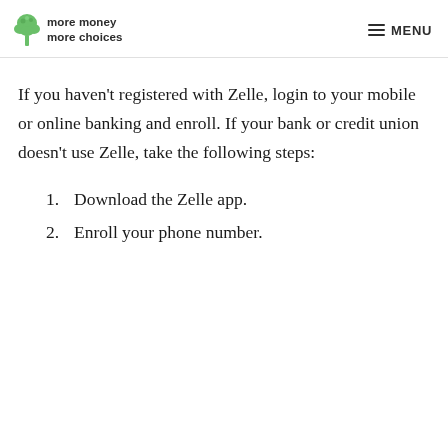more money more choices | MENU
If you haven't registered with Zelle, login to your mobile or online banking and enroll. If your bank or credit union doesn't use Zelle, take the following steps:
1. Download the Zelle app.
2. Enroll your phone number.